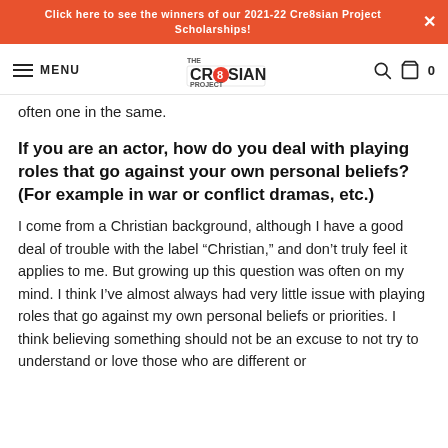Click here to see the winners of our 2021-22 Cre8sian Project Scholarships!
[Figure (logo): Navigation bar with hamburger menu, MENU text, The Cre8sian Project logo, search icon, bag icon, and cart count 0]
often one in the same.
If you are an actor, how do you deal with playing roles that go against your own personal beliefs? (For example in war or conflict dramas, etc.)
I come from a Christian background, although I have a good deal of trouble with the label “Christian,” and don’t truly feel it applies to me. But growing up this question was often on my mind. I think I’ve almost always had very little issue with playing roles that go against my own personal beliefs or priorities. I think believing something should not be an excuse to not try to understand or love those who are different or